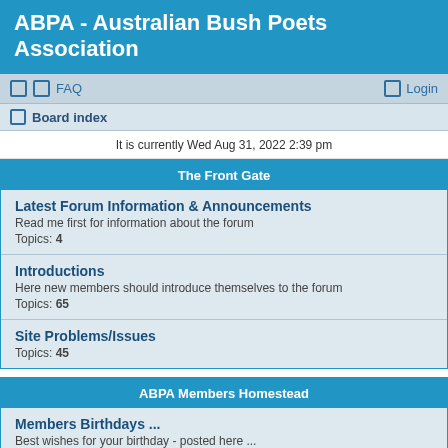ABPA - Australian Bush Poets Association
FAQ   Login
Board index
It is currently Wed Aug 31, 2022 2:39 pm
The Front Gate
Latest Forum Information & Announcements
Read me first for information about the forum
Topics: 4
Introductions
Here new members should introduce themselves to the forum
Topics: 65
Site Problems/Issues
Topics: 45
ABPA Members Homestead
Members Birthdays ...
Best wishes for your birthday - posted here ...
Topics: 51
PUBLIC NOTICEBOARD
For posting notices of interest to members - notices that may not make it to the Mag or the Web-site.